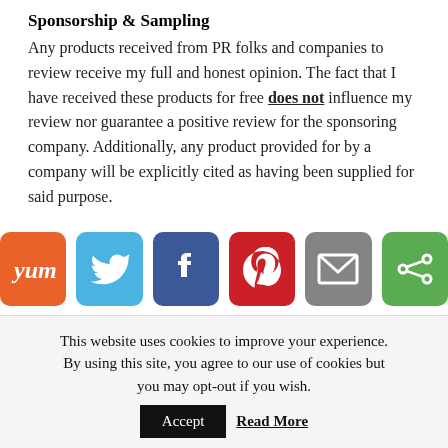Sponsorship & Sampling
Any products received from PR folks and companies to review receive my full and honest opinion. The fact that I have received these products for free does not influence my review nor guarantee a positive review for the sponsoring company. Additionally, any product provided for by a company will be explicitly cited as having been supplied for said purpose.
[Figure (infographic): Row of six social share buttons: Yummly (orange), Twitter (blue), Facebook (dark blue), Pinterest (red), Email (gray), and a green share button]
This website uses cookies to improve your experience. By using this site, you agree to our use of cookies but you may opt-out if you wish. Accept Read More